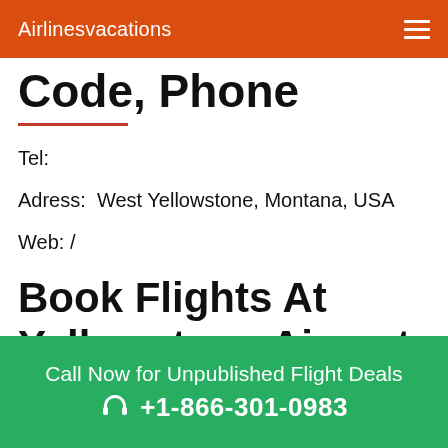Airlinesvacations
Code, Phone
Tel:
Adress:  West Yellowstone, Montana, USA
Web: /
Book Flights At Yellowstone Airport
Call Now for Unpublished Flight Deals
+1-866-301-0983